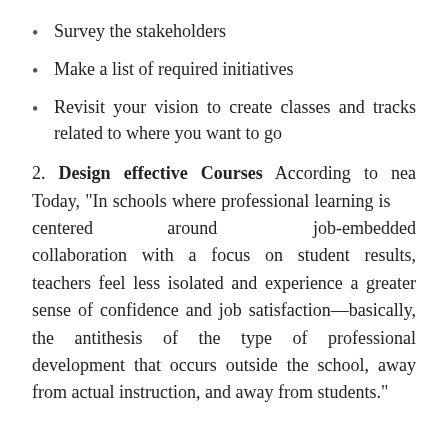Survey the stakeholders
Make a list of required initiatives
Revisit your vision to create classes and tracks related to where you want to go
2. Design effective Courses According to nea Today, “In schools where professional learning is centered around job-embedded collaboration with a focus on student results, teachers feel less isolated and experience a greater sense of confidence and job satisfaction—basically, the antithesis of the type of professional development that occurs outside the school, away from actual instruction, and away from students.”